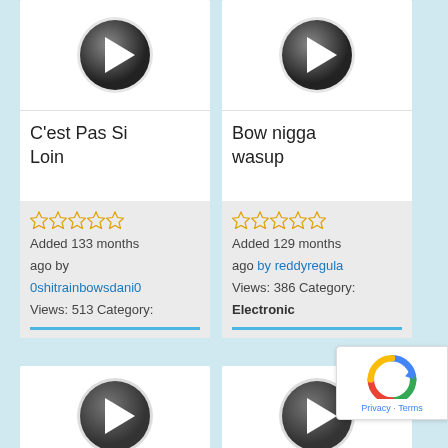[Figure (screenshot): Video thumbnail with play button for 'C'est Pas Si Loin']
[Figure (screenshot): Video thumbnail with play button for 'Bow nigga wasup']
C'est Pas Si Loin
Bow nigga wasup
Added 133 months ago by 0shitrainbowsdani0 Views: 513 Category:
Added 129 months ago by reddyregula Views: 386 Category: Electronic
[Figure (screenshot): Video thumbnail with play button (partially visible, bottom row left)]
[Figure (screenshot): Video thumbnail with play button (partially visible, bottom row right)]
[Figure (other): Google reCAPTCHA badge with Privacy and Terms links]